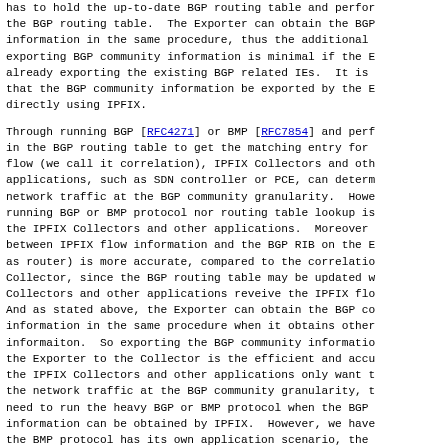has to hold the up-to-date BGP routing table and perfor the BGP routing table.  The Exporter can obtain the BGP information in the same procedure, thus the additional exporting BGP community information is minimal if the E already exporting the existing BGP related IEs.  It is that the BGP community information be exported by the E directly using IPFIX.
Through running BGP [RFC4271] or BMP [RFC7854] and perf in the BGP routing table to get the matching entry for flow (we call it correlation), IPFIX Collectors and oth applications, such as SDN controller or PCE, can determ network traffic at the BGP community granularity.  Howe running BGP or BMP protocol nor routing table lookup is the IPFIX Collectors and other applications.  Moreover between IPFIX flow information and the BGP RIB on the E as router) is more accurate, compared to the correlatio Collector, since the BGP routing table may be updated w Collectors and other applications reveive the IPFIX flo And as stated above, the Exporter can obtain the BGP co information in the same procedure when it obtains other informaiton.  So exporting the BGP community informatio the Exporter to the Collector is the efficient and accu the IPFIX Collectors and other applications only want t the network traffic at the BGP community granularity, t need to run the heavy BGP or BMP protocol when the BGP information can be obtained by IPFIX.  However, we have the BMP protocol has its own application scenario, the introduced in this document has no purpose to replace i
By introducing new IEs, this draft extends the existin